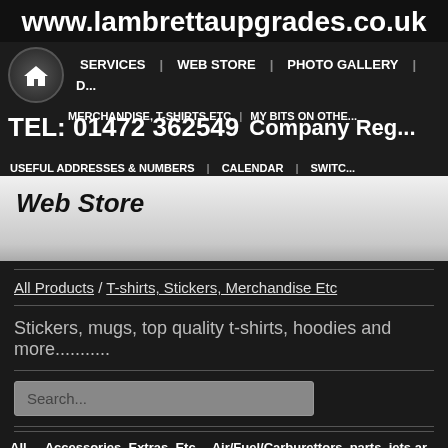www.lambrettaupgrades.co.uk
SERVICES | WEB STORE | PHOTO GALLERY | D...
TEL: 01472 362549  Company Reg...
MERCHANDISE, T-SHIRTS ETC | MY BITS ON OTHE... | USEFUL ADDRESSES & NUMBERS | CALENDAR | SWITC...
Web Store
All Products / T-shirts, Stickers, Merchandise Etc
Stickers, mugs, top quality t-shirts, hoodies and more...........
Search...
All  Accessories, Extras, Etc  Air/Fuel/Carburettors, parts, jets ar...  Books, patches & button badges  Brakes  Bulbs  Cable...  Conversion R1 & R6 rear shocks, spares and parts  Cranks and as...  kits and parts  Electrical  Exhausts  Forks  Front hub and R...